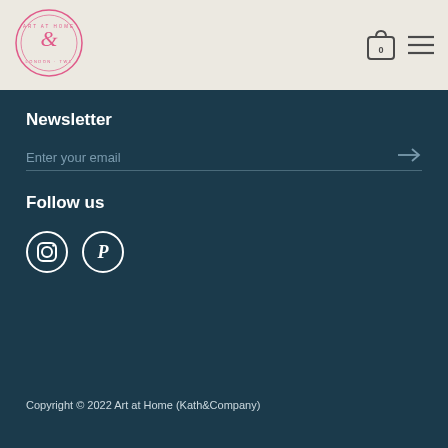[Figure (logo): Art at Home London TW1 circular logo with ampersand in pink]
[Figure (illustration): Shopping bag icon with 0 and hamburger menu icon in navy/dark color]
Newsletter
Enter your email
Follow us
[Figure (illustration): Instagram and Pinterest social media icons in white circles]
Copyright © 2022 Art at Home (Kath&Company)